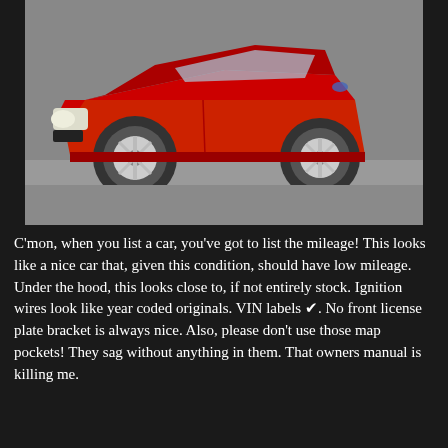[Figure (photo): A red Ford Mustang LX coupe (fox body, early 1990s), photographed from the front-left three-quarter angle on a grey pavement surface. The car is bright red with white five-spoke wheels, and appears to be in excellent condition.]
C'mon, when you list a car, you've got to list the mileage! This looks like a nice car that, given this condition, should have low mileage. Under the hood, this looks close to, if not entirely stock. Ignition wires look like year coded originals. VIN labels ✔. No front license plate bracket is always nice. Also, please don't use those map pockets! They sag without anything in them. That owners manual is killing me.